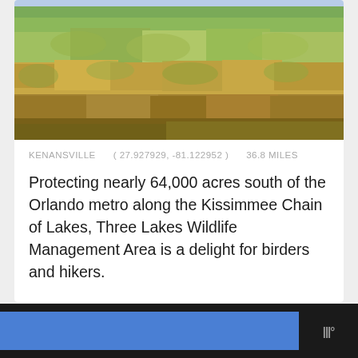[Figure (photo): Aerial/ground-level photograph of a wetland or grassland area with green and brown vegetation, marshland shrubs and grasses, representing Three Lakes Wildlife Management Area near Kenansville, Florida]
KENANSVILLE    (27.927929, -81.122952)    36.8 MILES
Protecting nearly 64,000 acres south of the Orlando metro along the Kissimmee Chain of Lakes, Three Lakes Wildlife Management Area is a delight for birders and hikers.